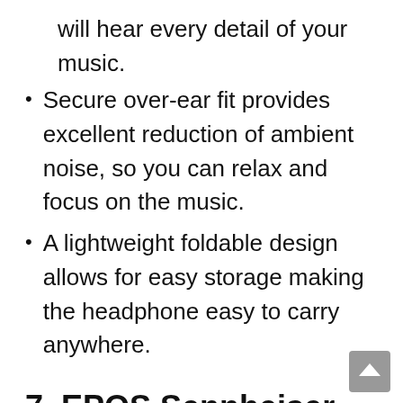will hear every detail of your music.
Secure over-ear fit provides excellent reduction of ambient noise, so you can relax and focus on the music.
A lightweight foldable design allows for easy storage making the headphone easy to carry anywhere.
7. EPOS Sennheiser GSP 300 Gaming Headset with Noise-Cancelling Mic, Flip-to-Mute, Comfortable Memory Foam Ear Pads, Headphones for PC, Mac, Xbox One, PS4, Nintendo